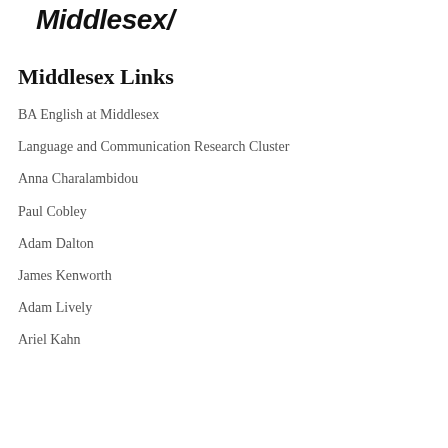Middlesex/
Middlesex Links
BA English at Middlesex
Language and Communication Research Cluster
Anna Charalambidou
Paul Cobley
Adam Dalton
James Kenworth
Adam Lively
Ariel Kahn